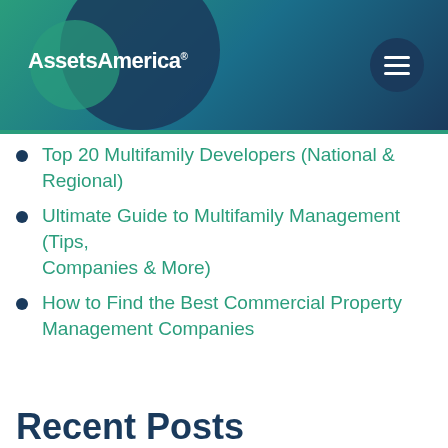[Figure (logo): AssetsAmerica logo with registered trademark symbol on teal and navy gradient header background with circular decorative elements and hamburger menu button]
Top 20 Multifamily Developers (National & Regional)
Ultimate Guide to Multifamily Management (Tips, Companies & More)
How to Find the Best Commercial Property Management Companies
Recent Posts